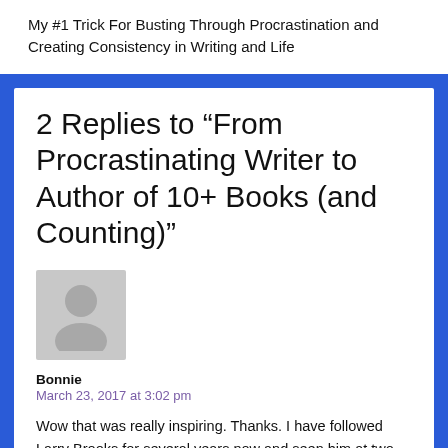My #1 Trick For Busting Through Procrastination and Creating Consistency in Writing and Life
2 Replies to “From Procrastinating Writer to Author of 10+ Books (and Counting)”
[Figure (illustration): Default grey avatar silhouette placeholder image]
Bonnie
March 23, 2017 at 3:02 pm
Wow that was really inspiring. Thanks. I have followed Larry Brooks for several years now and seen him at two conventions. He is indeed full of creative brilliance on writing. I self-published one children’s book and have one in revision at the moment. Need a push!! Thanks for